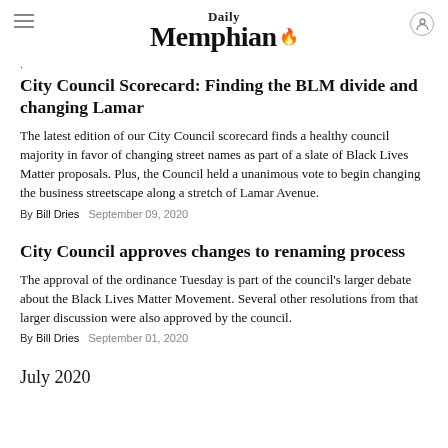Daily Memphian
City Council Scorecard: Finding the BLM divide and changing Lamar
The latest edition of our City Council scorecard finds a healthy council majority in favor of changing street names as part of a slate of Black Lives Matter proposals. Plus, the Council held a unanimous vote to begin changing the business streetscape along a stretch of Lamar Avenue.
By Bill Dries   September 09, 2020
City Council approves changes to renaming process
The approval of the ordinance Tuesday is part of the council's larger debate about the Black Lives Matter Movement. Several other resolutions from that larger discussion were also approved by the council.
By Bill Dries   September 01, 2020
July 2020